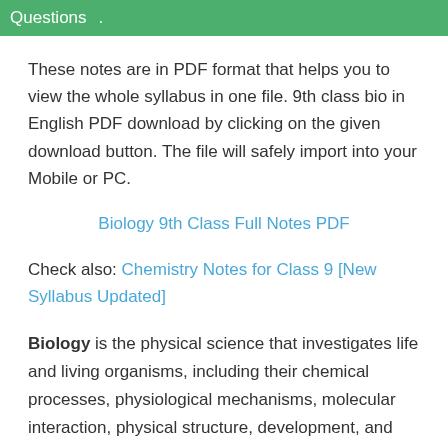Questions .
These notes are in PDF format that helps you to view the whole syllabus in one file. 9th class bio in English PDF download by clicking on the given download button. The file will safely import into your Mobile or PC.
Biology 9th Class Full Notes PDF
Check also: Chemistry Notes for Class 9 [New Syllabus Updated]
Biology is the physical science that investigates life and living organisms, including their chemical processes, physiological mechanisms, molecular interaction, physical structure, development, and evolution. Notwithstanding the complexity of science, there are several unifying concepts